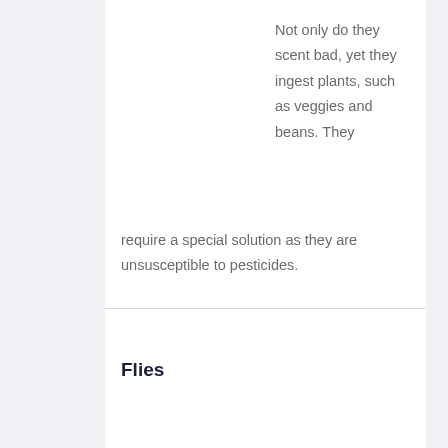Not only do they scent bad, yet they ingest plants, such as veggies and beans. They require a special solution as they are unsusceptible to pesticides.
Flies